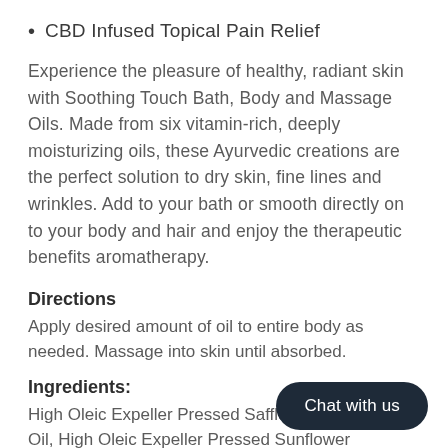CBD Infused Topical Pain Relief
Experience the pleasure of healthy, radiant skin with Soothing Touch Bath, Body and Massage Oils. Made from six vitamin-rich, deeply moisturizing oils, these Ayurvedic creations are the perfect solution to dry skin, fine lines and wrinkles. Add to your bath or smooth directly on to your body and hair and enjoy the therapeutic benefits aromatherapy.
Directions
Apply desired amount of oil to entire body as needed. Massage into skin until absorbed.
Ingredients:
High Oleic Expeller Pressed Safflower (tinctorius) Oil, High Oleic Expeller Pressed Sunflower